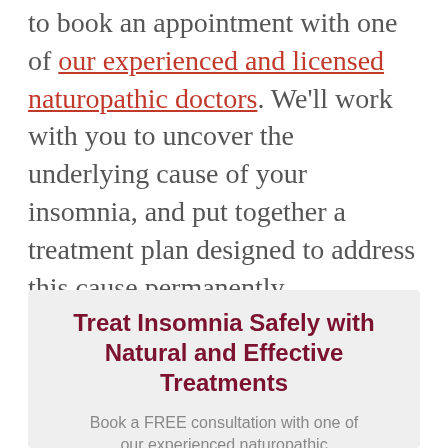to book an appointment with one of our experienced and licensed naturopathic doctors. We'll work with you to uncover the underlying cause of your insomnia, and put together a treatment plan designed to address this cause permanently.
Treat Insomnia Safely with Natural and Effective Treatments
Book a FREE consultation with one of our experienced naturopathic